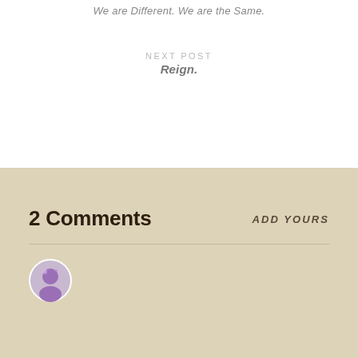We are Different. We are the Same.
NEXT POST
Reign.
2 Comments
ADD YOURS
[Figure (illustration): Partial view of a circular avatar/icon at bottom of page]